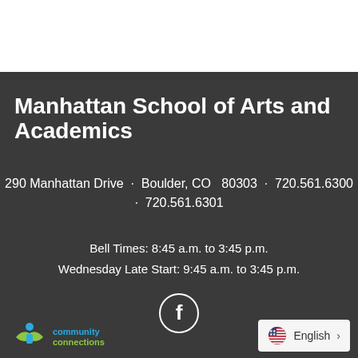Manhattan School of Arts and Academics
290 Manhattan Drive · Boulder, CO  80303 · 720.561.6300 · 720.561.6301
Bell Times: 8:45 a.m. to 3:45 p.m.
Wednesday Late Start: 9:45 a.m. to 3:45 p.m.
[Figure (logo): Facebook icon circle with 'f' letter]
[Figure (logo): Community Connections logo with person/book icon]
English